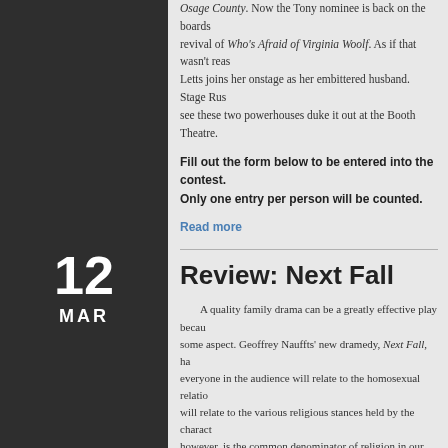Osage County. Now the Tony nominee is back on the boards revival of Who's Afraid of Virginia Woolf. As if that wasn't reas Letts joins her onstage as her embittered husband. Stage Rus see these two powerhouses duke it out at the Booth Theatre.
Fill out the form below to be entered into the contest. Only one entry per person will be counted.
Read more
12
MAR
Review: Next Fall
A quality family drama can be a greatly effective play becau some aspect. Geoffrey Nauffts' new dramedy, Next Fall, has everyone in the audience will relate to the homosexual relatio will relate to the various religious stances held by the charact however, is the common denominator of religion in our lives a
Patrick Breen plays Adam, a man approaching the edge of mi religion. Patrick Heusinger plays Luke, a 20-something optimi